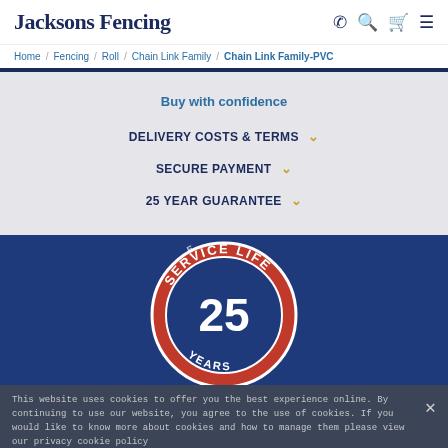Jacksons Fencing
Home / Fencing / Roll / Chain Link Family / Chain Link Family-PVC
Buy with confidence
DELIVERY COSTS & TERMS
SECURE PAYMENT
25 YEAR GUARANTEE
[Figure (logo): Service Life 25 Years badge/seal on dark blue background]
This website uses cookies to offer you the best experience online. By continuing to use our website, you agree to the use of cookies. If you would like to know more about cookies and how to manage them please view our privacy cookie policy